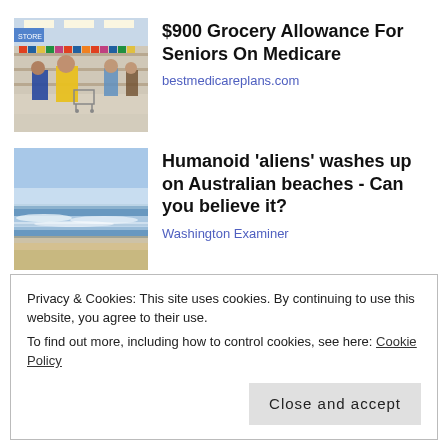[Figure (photo): People shopping in a grocery store, woman in yellow jacket prominent, shopping carts, fluorescent lit store aisle]
$900 Grocery Allowance For Seniors On Medicare
bestmedicareplans.com
[Figure (photo): Sandy beach with ocean waves and blue sky, flat sandy shore]
Humanoid 'aliens' washes up on Australian beaches - Can you believe it?
Washington Examiner
SHARE THIS:
Privacy & Cookies: This site uses cookies. By continuing to use this website, you agree to their use.
To find out more, including how to control cookies, see here: Cookie Policy